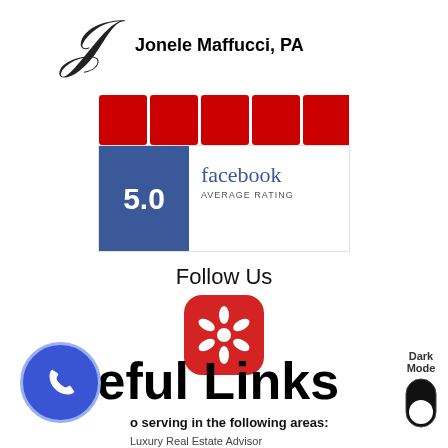[Figure (logo): Cursive J logo with text Jonele Maffucci, PA]
[Figure (infographic): Five red star rating icons (Zillow-style)]
[Figure (infographic): Facebook 5.0 Average Rating badge with blue score box and five gold stars]
Follow Us
[Figure (logo): Yelp red rounded square icon with white burst/flower symbol]
Useful Links
o serving in the following areas:
Luxury Real Estate Advisor